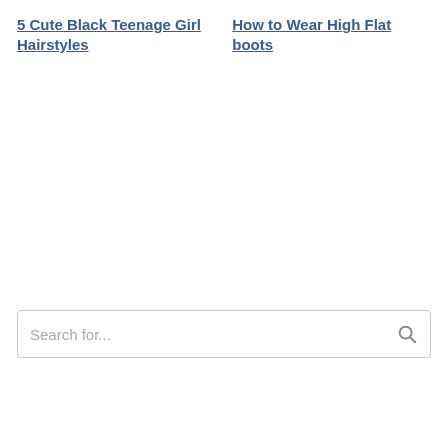5 Cute Black Teenage Girl Hairstyles
How to Wear High Flat boots
Search for...